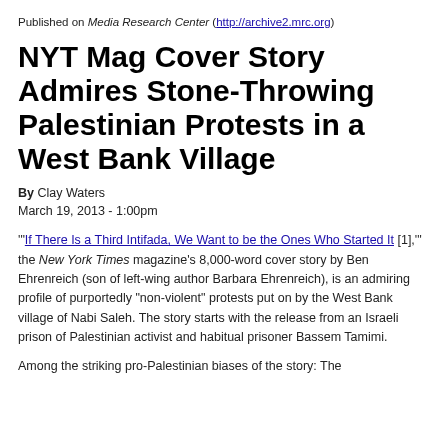Published on Media Research Center (http://archive2.mrc.org)
NYT Mag Cover Story Admires Stone-Throwing Palestinian Protests in a West Bank Village
By Clay Waters
March 19, 2013 - 1:00pm
'"If There Is a Third Intifada, We Want to be the Ones Who Started It [1],"' the New York Times magazine's 8,000-word cover story by Ben Ehrenreich (son of left-wing author Barbara Ehrenreich), is an admiring profile of purportedly "non-violent" protests put on by the West Bank village of Nabi Saleh. The story starts with the release from an Israeli prison of Palestinian activist and habitual prisoner Bassem Tamimi.
Among the striking pro-Palestinian biases of the story: The